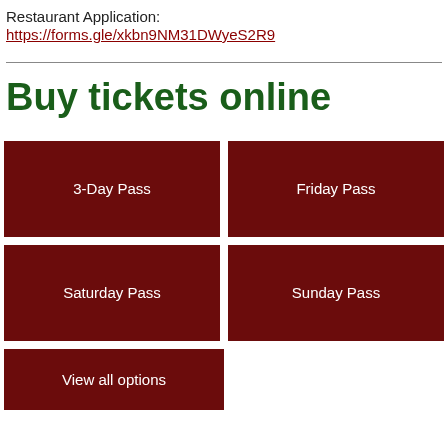Restaurant Application:
https://forms.gle/xkbn9NM31DWyeS2R9
Buy tickets online
3-Day Pass
Friday Pass
Saturday Pass
Sunday Pass
View all options